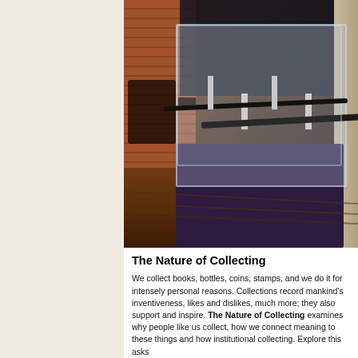[Figure (photo): Museum exhibit photograph showing a glass display case containing a long gun/musket mounted on white supports, displayed on a dark purple pedestal. Behind is a dark information panel with text and an image. Brick wall visible on the left, wooden floor below.]
The Nature of Collecting
We collect books, bottles, coins, stamps, and we do it for intensely personal reasons. Collections record mankind's inventiveness, likes and dislikes, much more; they also support and inspire. The Nature of Collecting examines why people like us collect, how we connect meaning to these things and how institutional collecting. Explore this asks...